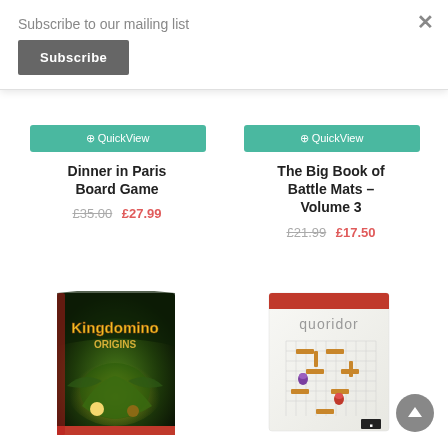Subscribe to our mailing list
Subscribe
× (close button)
QuickView
Dinner in Paris Board Game
£35.00 £27.99
QuickView
The Big Book of Battle Mats – Volume 3
£21.99 £17.50
[Figure (photo): Kingdomino Origins board game box art showing fantasy dragon/dinosaur theme with yellow stylized title text]
[Figure (photo): Quoridor board game box showing a white box with wooden game pieces on a grid board and the word quoridor in lowercase]